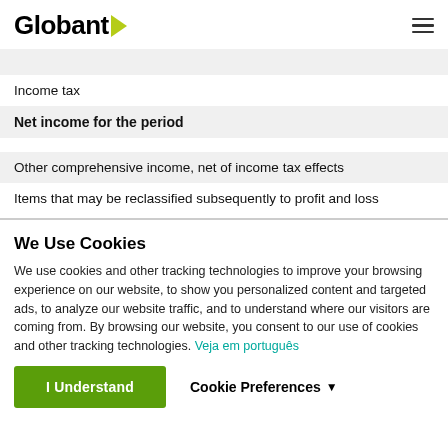Globant
Income tax
Net income for the period
Other comprehensive income, net of income tax effects
Items that may be reclassified subsequently to profit and loss
We Use Cookies
We use cookies and other tracking technologies to improve your browsing experience on our website, to show you personalized content and targeted ads, to analyze our website traffic, and to understand where our visitors are coming from. By browsing our website, you consent to our use of cookies and other tracking technologies. Veja em português
I Understand
Cookie Preferences